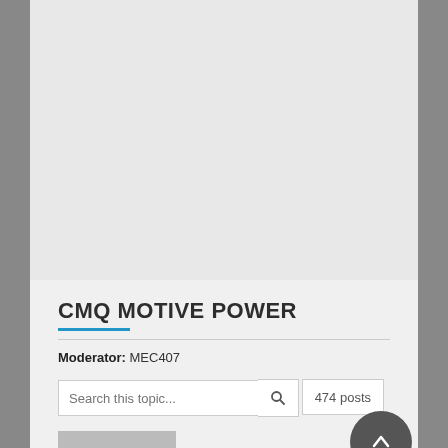CMQ MOTIVE POWER
Moderator: MEC407
Search this topic...
474 posts